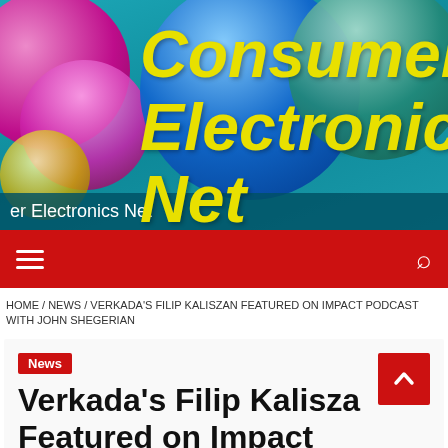[Figure (illustration): Consumer Electronics Net website banner with colorful 3D spheres (pink, blue, teal, yellow) on teal background with yellow italic bold text 'Consumer Electronics Net']
Consumer Electronics Net
≡   🔍
HOME / NEWS / VERKADA'S FILIP KALISZAN FEATURED ON IMPACT PODCAST WITH JOHN SHEGERIAN
News
Verkada's Filip Kaliszan Featured on Impact